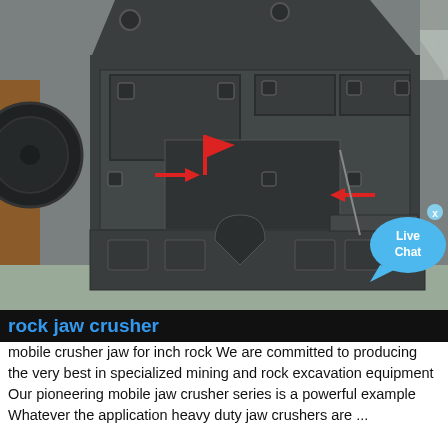[Figure (photo): Large industrial rock jaw crusher machine, dark grey/black, viewed from front, with red arrows pointing to components. Machine is in a warehouse/industrial setting. A 'Live Chat' speech bubble overlay is visible in the bottom right of the image.]
rock jaw crusher
mobile crusher jaw for inch rock We are committed to producing the very best in specialized mining and rock excavation equipment Our pioneering mobile jaw crusher series is a powerful example Whatever the application heavy duty jaw crushers are ...
Get price